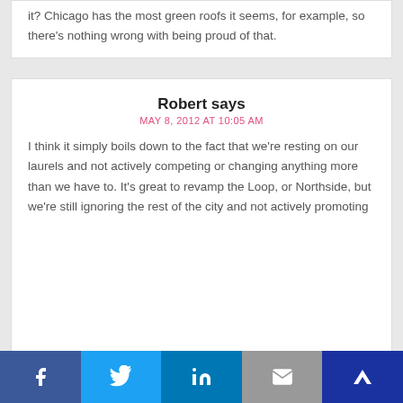it? Chicago has the most green roofs it seems, for example, so there's nothing wrong with being proud of that.
Robert says
MAY 8, 2012 AT 10:05 AM
I think it simply boils down to the fact that we're resting on our laurels and not actively competing or changing anything more than we have to. It's great to revamp the Loop, or Northside, but we're still ignoring the rest of the city and not actively promoting
f  [Twitter]  in  [Email]  [Crown/bookmark]